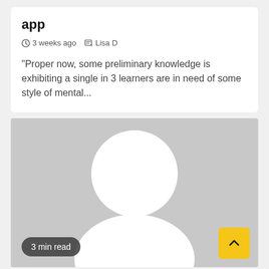app
3 weeks ago   Lisa D
"Proper now, some preliminary knowledge is exhibiting a single in 3 learners are in need of some style of mental...
[Figure (photo): Default user avatar placeholder — grey background with white silhouette of a person (circle head and rounded shoulders)]
3 min read